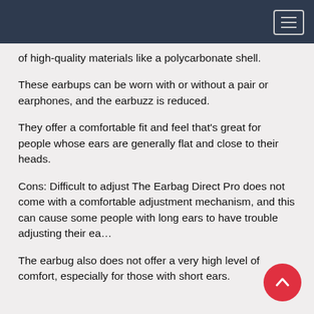of high-quality materials like a polycarbonate shell.
These earbups can be worn with or without a pair or earphones, and the earbuzz is reduced.
They offer a comfortable fit and feel that’s great for people whose ears are generally flat and close to their heads.
Cons: Difficult to adjust The Earbag Direct Pro does not come with a comfortable adjustment mechanism, and this can cause some people with long ears to have trouble adjusting their ea…
The earbug also does not offer a very high level of comfort, especially for those with short ears.